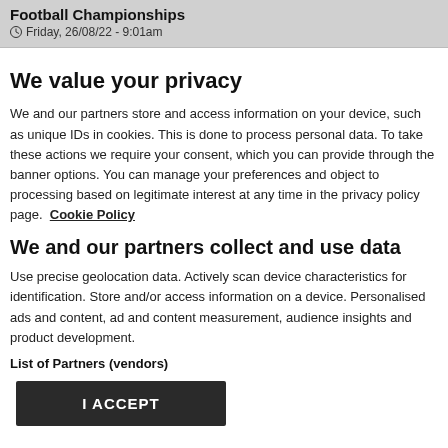Football Championships
Friday, 26/08/22 - 9:01am
We value your privacy
We and our partners store and access information on your device, such as unique IDs in cookies. This is done to process personal data. To take these actions we require your consent, which you can provide through the banner options. You can manage your preferences and object to processing based on legitimate interest at any time in the privacy policy page.  Cookie Policy
We and our partners collect and use data
Use precise geolocation data. Actively scan device characteristics for identification. Store and/or access information on a device. Personalised ads and content, ad and content measurement, audience insights and product development.
List of Partners (vendors)